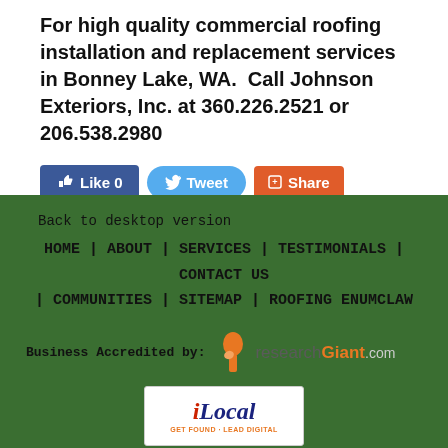For high quality commercial roofing installation and replacement services in Bonney Lake, WA. Call Johnson Exteriors, Inc. at 360.226.2521 or 206.538.2980
[Figure (screenshot): Social sharing buttons: Facebook Like 0 button (blue), Twitter Tweet button (light blue), Google+ Share button (orange-red)]
Back to desktop version
HOME | ABOUT | SERVICES | TESTIMONIALS | CONTACT US | COMMUNITIES | SITEMAP | ROOFING ENUMCLAW
Business Accredited by: researchGiant.com
[Figure (logo): iLocal logo - GET FOUND · LEAD DIGITAL]
Website Design by iLocal, Inc. Click to Learn More